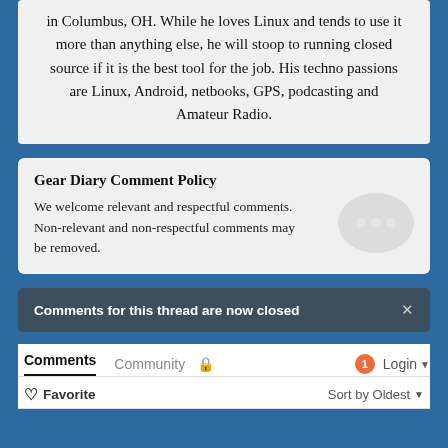in Columbus, OH. While he loves Linux and tends to use it more than anything else, he will stoop to running closed source if it is the best tool for the job. His techno passions are Linux, Android, netbooks, GPS, podcasting and Amateur Radio.
Gear Diary Comment Policy
We welcome relevant and respectful comments. Non-relevant and non-respectful comments may be removed.
Comments for this thread are now closed
Comments  Community  🔒  1  Login ▾
♡ Favorite  Sort by Oldest ▾